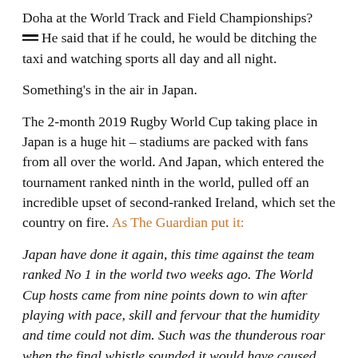Doha at the World Track and Field Championships? He said that if he could, he would be ditching the taxi and watching sports all day and all night.
Something's in the air in Japan.
The 2-month 2019 Rugby World Cup taking place in Japan is a huge hit – stadiums are packed with fans from all over the world. And Japan, which entered the tournament ranked ninth in the world, pulled off an incredible upset of second-ranked Ireland, which set the country on fire. As The Guardian put it:
Japan have done it again, this time against the team ranked No 1 in the world two weeks ago. The World Cup hosts came from nine points down to win after playing with pace, skill and fervour that the humidity and time could not dim. Such was the thunderous roar when the final whistle sounded it would have caused the nearby Mount Fuji to wobble.